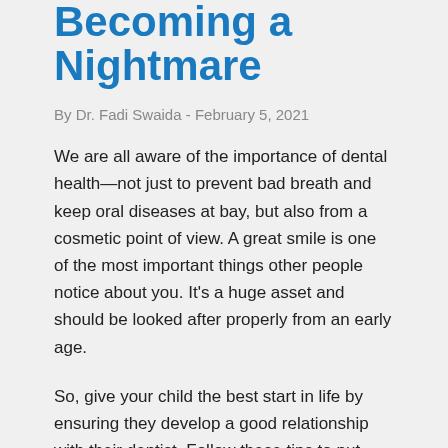Becoming a Nightmare
By Dr. Fadi Swaida - February 5, 2021
We are all aware of the importance of dental health—not just to prevent bad breath and keep oral diseases at bay, but also from a cosmetic point of view. A great smile is one of the most important things other people notice about you. It's a huge asset and should be looked after properly from an early age.
So, give your child the best start in life by ensuring they develop a good relationship with their dentist. Follow these tips to put your child on the right path to lifelong dental health excellence and prevent your child's first visit to the dentist becoming a nightmare.